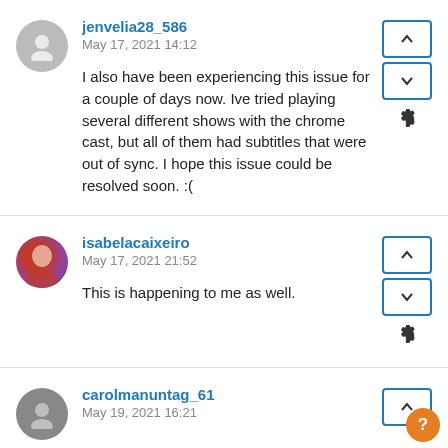jenvelia28_586
May 17, 2021 14:12
I also have been experiencing this issue for a couple of days now. Ive tried playing several different shows with the chrome cast, but all of them had subtitles that were out of sync. I hope this issue could be resolved soon. :(
isabelacaixeiro
May 17, 2021 21:52
This is happening to me as well.
carolmanuntag_61
May 19, 2021 16:21